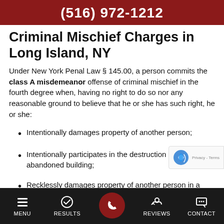(516) 972-1212
Criminal Mischief Charges in Long Island, NY
Under New York Penal Law § 145.00, a person commits the class A misdemeanor offense of criminal mischief in the fourth degree when, having no right to do so nor any reasonable ground to believe that he or she has such right, he or she:
Intentionally damages property of another person;
Intentionally participates in the destruction of an abandoned building;
Recklessly damages property of another person in an amount exceeding $250; or